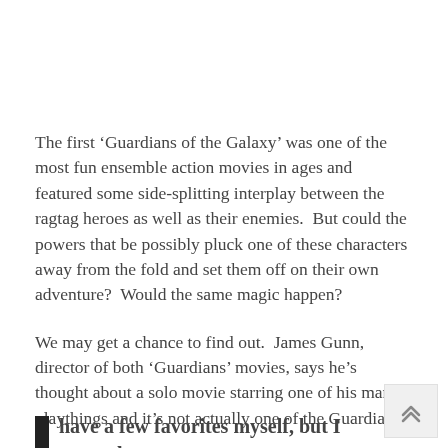The first ‘Guardians of the Galaxy’ was one of the most fun ensemble action movies in ages and featured some side-splitting interplay between the ragtag heroes as well as their enemies.  But could the powers that be possibly pluck one of these characters away from the fold and set them off on their own adventure?  Would the same magic happen?
We may get a chance to find out.  James Gunn, director of both ‘Guardians’ movies, says he’s thought about a solo movie starring one of his many playthings and it’s not actually one of the Guardians.
Via Twitter he announced:
have a few favorites myself, but I agree that